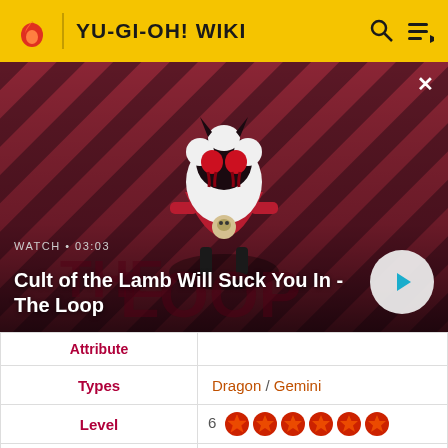YU-GI-OH! WIKI
[Figure (screenshot): Video thumbnail showing Cult of the Lamb character on striped red/dark background with play button. Label: WATCH • 03:03. Title: Cult of the Lamb Will Suck You In - The Loop]
| Attribute |  |
| --- | --- |
| Types | Dragon / Gemini |
| Level | 6 ★★★★★★ |
| ATK / DEF | 0 / 0 |